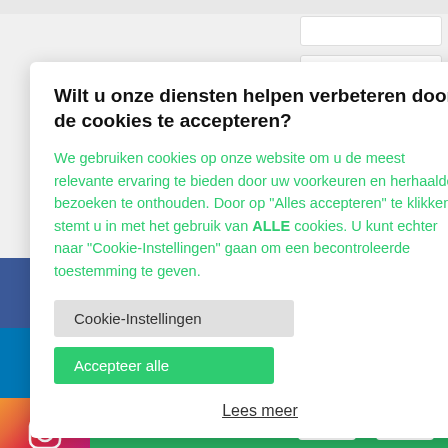[Figure (screenshot): Website screenshot showing a cookie consent overlay dialog in Dutch, with social media sidebar icons (Facebook, LinkedIn, Instagram) on the left, form input fields partially visible in the background, a green button area, and a green footer bar with CONTACT text and icon buttons.]
Wilt u onze diensten helpen verbeteren door de cookies te accepteren?
We gebruiken cookies op onze website om u de meest relevante ervaring te bieden door uw voorkeuren en herhaalde bezoeken te onthouden. Door op "Alles accepteren" te klikken, stemt u in met het gebruik van ALLE cookies. U kunt echter naar "Cookie-Instellingen" gaan om een becontroleerde toestemming te geven.
Cookie-Instellingen
Accepteer alle
Lees meer
CONTACT